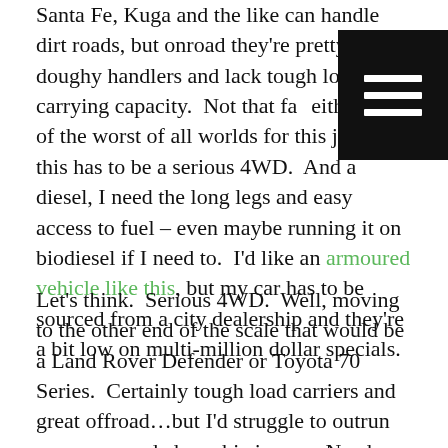Santa Fe, Kuga and the like can handle dirt roads, but onroad they're pretty doughy handlers and lack tough load-carrying capacity.  Not that fast either, kind of the worst of all worlds for this job. No, this has to be a serious 4WD.  And a diesel, I need the long legs and easy access to fuel – even maybe running it on biodiesel if I need to.  I'd like an armoured vehicle like this, but my car has to be sourced from a city dealership and they're a bit low on multi-million dollar specials.
Let's think.  Serious 4WD.  Well, moving to the other end of the scale that would be a Land Rover Defender or Toyota 70 Series.  Certainly tough load carriers and great offroad…but I'd struggle to outrun even a wounded zombie in one.  Need a bit more